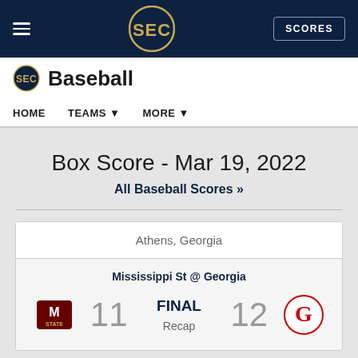SEC Baseball - Box Score - Mar 19, 2022
Box Score - Mar 19, 2022
All Baseball Scores »
Athens, Georgia
Mississippi St @ Georgia
FINAL
11
12
Recap